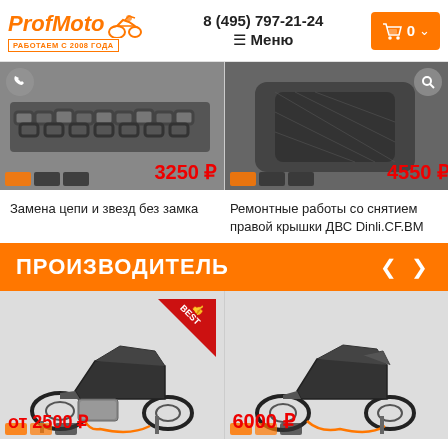ProfMoto — РАБОТАЕМ С 2008 ГОДА | 8 (495) 797-21-24 | Меню | Корзина 0
[Figure (photo): Product image: motorcycle chain, price 3250 ₽]
[Figure (photo): Product image: motorcycle bag/cover, price 4550 ₽]
Замена цепи и звезд без замка
Ремонтные работы со снятием правой крышки ДВС Dinli.CF.BM
ПРОИЗВОДИТЕЛЬ
[Figure (photo): Motorcycle product image with BEST badge, price от 2500 ₽]
[Figure (photo): Motorcycle product image, price 6000 ₽]